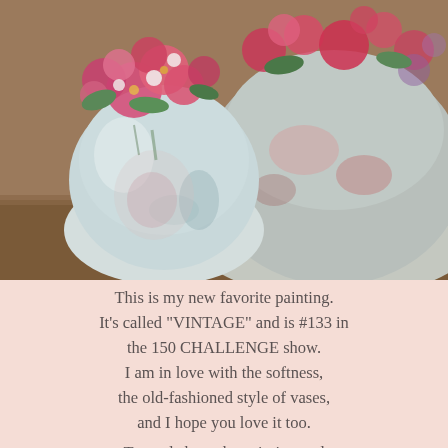[Figure (illustration): Oil painting of two vintage-style vases with pink and red flowers. A round pale blue/white vase in the foreground is filled with pink roses and other blooms. A larger decorative vase is partially visible behind it, also displaying flowers. The background is a soft warm brown. The painting style is impressionistic with visible brushwork.]
This is my new favorite painting. It's called "VINTAGE" and is #133 in the 150 CHALLENGE show.
I am in love with the softness, the old-fashioned style of vases, and I hope you love it too.
To read about the painting and purchase information,